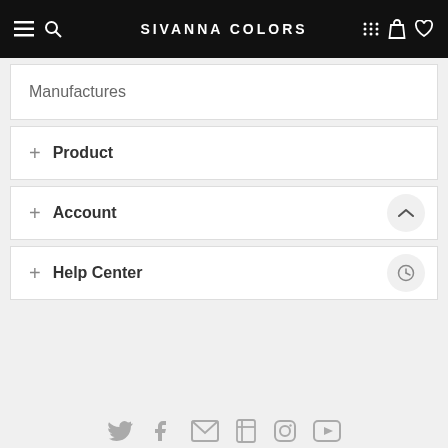SIVANNA COLORS
Manufactures
+ Product
+ Account
+ Help Center
[Figure (other): Social media icons: Twitter, Facebook, Email, Pinterest, Instagram, YouTube]